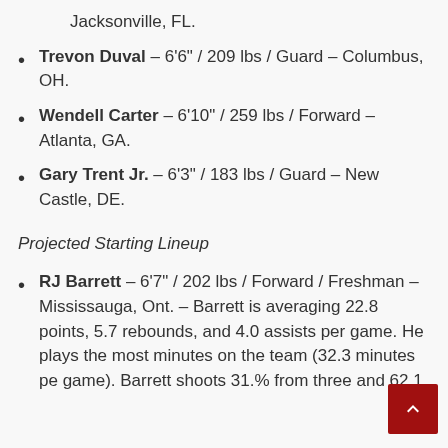Jacksonville, FL.
Trevon Duval – 6'6" / 209 lbs / Guard – Columbus, OH.
Wendell Carter – 6'10" / 259 lbs / Forward – Atlanta, GA.
Gary Trent Jr. – 6'3" / 183 lbs / Guard – New Castle, DE.
Projected Starting Lineup
RJ Barrett – 6'7" / 202 lbs / Forward / Freshman – Mississauga, Ont. – Barrett is averaging 22.8 points, 5.7 rebounds, and 4.0 assists per game. He plays the most minutes on the team (32.3 minutes per game). Barrett shoots 31.% from three and 62.1 from the line. He also averages 2.5 t...